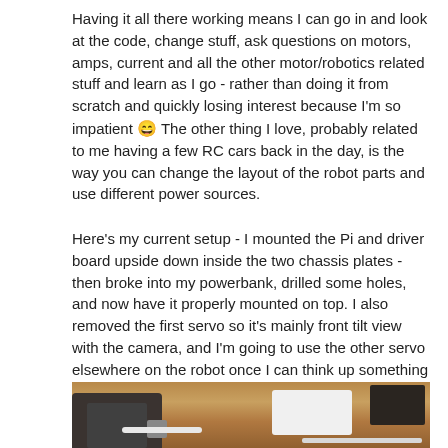Having it all there working means I can go in and look at the code, change stuff, ask questions on motors, amps, current and all the other motor/robotics related stuff and learn as I go - rather than doing it from scratch and quickly losing interest because I'm so impatient 😄 The other thing I love, probably related to me having a few RC cars back in the day, is the way you can change the layout of the robot parts and use different power sources.
Here's my current setup - I mounted the Pi and driver board upside down inside the two chassis plates - then broke into my powerbank, drilled some holes, and now have it properly mounted on top. I also removed the first servo so it's mainly front tilt view with the camera, and I'm going to use the other servo elsewhere on the robot once I can think up something cool...any ideas?
[Figure (photo): Photo of a robot project setup on a wooden table showing electronic components including a Raspberry Pi, driver board, powerbank, cables, and other hardware components arranged on a wooden surface.]